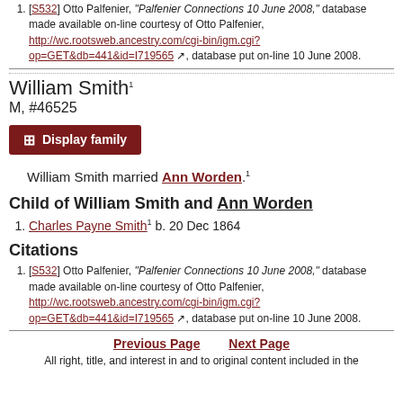[S532] Otto Palfenier, "Palfenier Connections 10 June 2008," database made available on-line courtesy of Otto Palfenier, http://wc.rootsweb.ancestry.com/cgi-bin/igm.cgi?op=GET&db=441&id=I719565, database put on-line 10 June 2008.
William Smith M, #46525
William Smith married Ann Worden.
Child of William Smith and Ann Worden
Charles Payne Smith b. 20 Dec 1864
Citations
[S532] Otto Palfenier, "Palfenier Connections 10 June 2008," database made available on-line courtesy of Otto Palfenier, http://wc.rootsweb.ancestry.com/cgi-bin/igm.cgi?op=GET&db=441&id=I719565, database put on-line 10 June 2008.
Previous Page   Next Page
All right, title, and interest in and to original content included in the